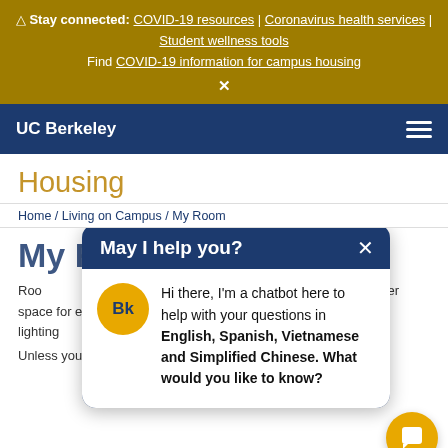⚠ Stay connected: COVID-19 resources | Coronavirus health services | Student wellness tools
Find COVID-19 information for campus housing
✕
UC Berkeley  ☰
Housing
Home / Living on Campus / My Room
My Room
Hi there, I'm a chatbot here to help with your questions in English, Spanish, Vietnamese and Simplified Chinese. What would you like to know?
Rooms are furnished with a twin XL single beds... er space for e... rrors book... dy lighting... dows.
Unless you are in a single room, you will be sharing the